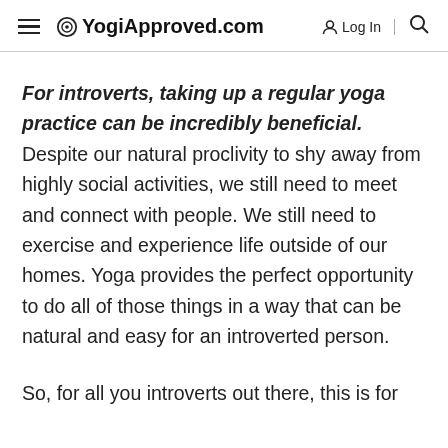YogiApproved.com  Log In
For introverts, taking up a regular yoga practice can be incredibly beneficial. Despite our natural proclivity to shy away from highly social activities, we still need to meet and connect with people. We still need to exercise and experience life outside of our homes. Yoga provides the perfect opportunity to do all of those things in a way that can be natural and easy for an introverted person.
So, for all you introverts out there, this is for